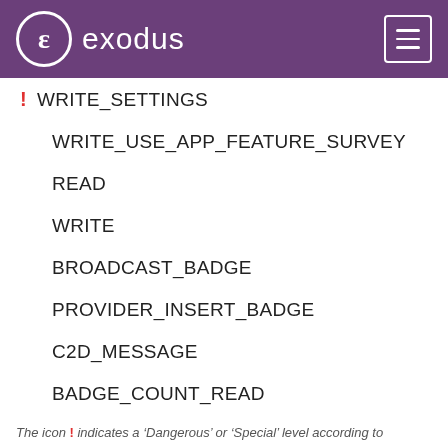exodus
WRITE_SETTINGS
WRITE_USE_APP_FEATURE_SURVEY
READ
WRITE
BROADCAST_BADGE
PROVIDER_INSERT_BADGE
C2D_MESSAGE
BADGE_COUNT_READ
BADGE_COUNT_WRITE
The icon ! indicates a 'Dangerous' or 'Special' level according to